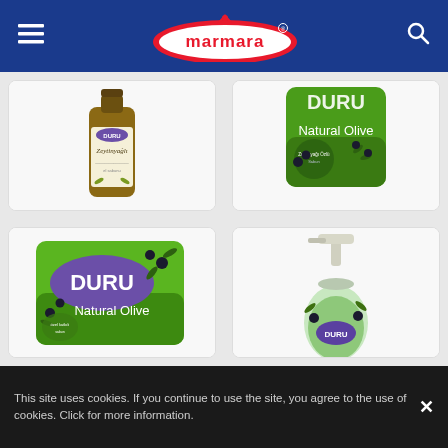marmara
[Figure (photo): Duru liquid soap bottle with olive oil design - brown glass bottle with cream label]
Duru Liquid Soap with Olive Oil
[Figure (photo): Duru Marseilles Olive Oil bar soap - green packaging with olive branches]
Duru Marseilles (Olive Oil)
[Figure (photo): Duru Natural Olive bar soap - green packaging with purple Duru logo]
[Figure (photo): Duru liquid soap pump bottle - clear green liquid with white pump]
Markets
This site uses cookies. If you continue to use the site, you agree to the use of cookies. Click for more information.